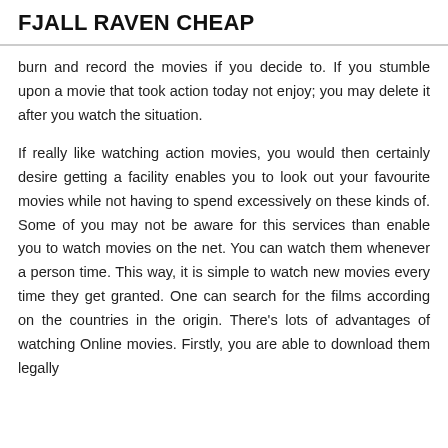FJALL RAVEN CHEAP
burn and record the movies if you decide to. If you stumble upon a movie that took action today not enjoy; you may delete it after you watch the situation.
If really like watching action movies, you would then certainly desire getting a facility enables you to look out your favourite movies while not having to spend excessively on these kinds of. Some of you may not be aware for this services than enable you to watch movies on the net. You can watch them whenever a person time. This way, it is simple to watch new movies every time they get granted. One can search for the films according on the countries in the origin. There's lots of advantages of watching Online movies. Firstly, you are able to download them legally